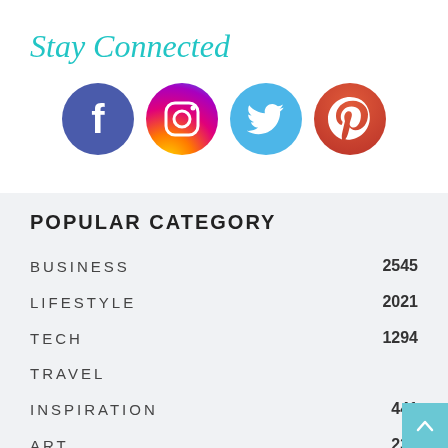Stay Connected
[Figure (illustration): Four social media icons in circles: Facebook (purple), Instagram (gradient pink/purple/orange), Twitter (blue), Pinterest (red/orange)]
POPULAR CATEGORY
BUSINESS    2545
LIFESTYLE    2021
TECH    1294
TRAVEL
INSPIRATION    441
ART    234